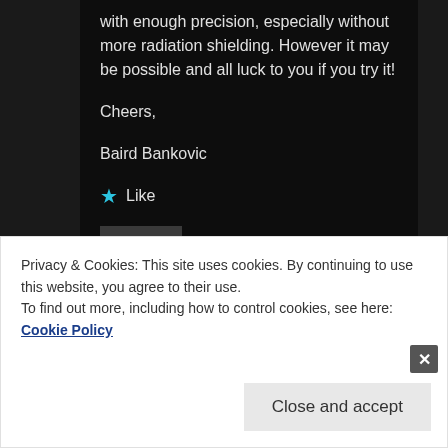with enough precision, especially without more radiation shielding. However it may be possible and all luck to you if you try it!
Cheers,
Baird Bankovic
★ Like
Reply ↓
Privacy & Cookies: This site uses cookies. By continuing to use this website, you agree to their use.
To find out more, including how to control cookies, see here: Cookie Policy
Close and accept